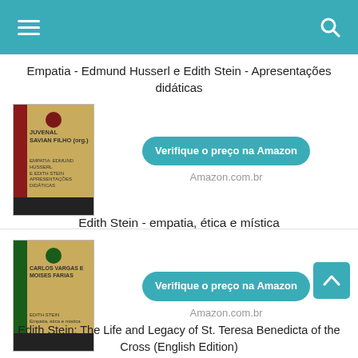[Figure (screenshot): Mobile app header bar with teal background, hamburger menu icon on left, search icon on right]
Empatia - Edmund Husserl e Edith Stein - Apresentações didáticas
[Figure (photo): Book cover for Empatia - Edmund Husserl e Edith Stein, beige/tan cover with red stripe]
Verifique o preço na Amazon
Amazon.com.br
Edith Stein - empatia, ética e mística
[Figure (photo): Book cover for Edith Stein - empatia, ética e mística, beige/tan cover with green stripe]
Verifique o preço na Amazon
Amazon.com.br
Edith Stein: The Life and Legacy of St. Teresa Benedicta of the Cross (English Edition)